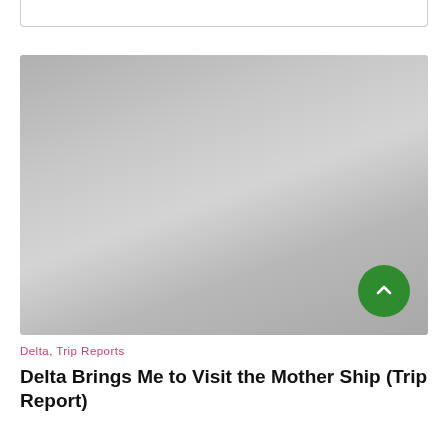[Figure (photo): Large placeholder image with grey gradient background, representing an article photo. A green circular scroll-to-top button with a chevron arrow is visible in the bottom-right corner.]
Delta, Trip Reports
Delta Brings Me to Visit the Mother Ship (Trip Report)